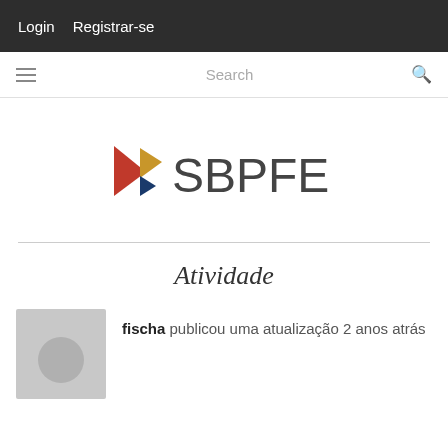Login   Registrar-se
Search
[Figure (logo): SBPFE logo with triangular arrows in red, gold and dark blue colors next to the text SBPFE in dark grey]
Atividade
fischa publicou uma atualização 2 anos atrás